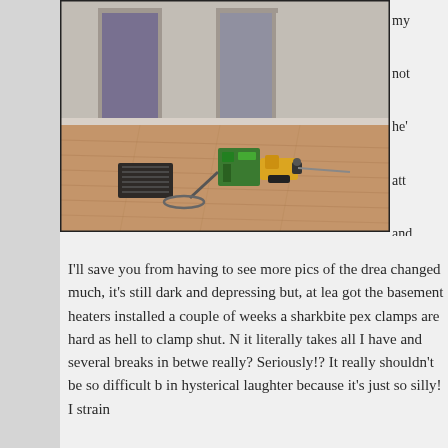[Figure (photo): Photo of a room interior with wood laminate flooring, doorways visible in the background, a floor vent/grate, and tools including what appears to be a drill and some device on the floor.]
my not he' att and a r
I'll save you from having to see more pics of the drea changed much, it's still dark and depressing but, at lea got the basement heaters installed a couple of weeks a sharkbite pex clamps are hard as hell to clamp shut. N it literally takes all I have and several breaks in betwe really? Seriously!? It really shouldn't be so difficult b in hysterical laughter because it's just so silly! I strain